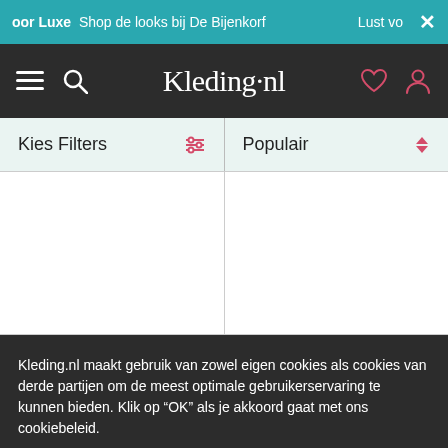oor Luxe  Shop de looks bij De Bijenkorf  Lust vo  ×
[Figure (screenshot): Kleding.nl navigation bar with hamburger menu, search icon, logo, heart icon, and user icon on dark background]
Kies Filters  |  Populair
Kleding.nl maakt gebruik van zowel eigen cookies als cookies van derde partijen om de meest optimale gebruikerservaring te kunnen bieden. Klik op "OK" als je akkoord gaat met ons cookiebeleid.
Meer informatie  OK